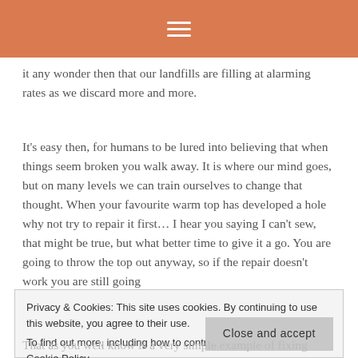☰
it any wonder then that our landfills are filling at alarming rates as we discard more and more.
It's easy then, for humans to be lured into believing that when things seem broken you walk away. It is where our mind goes, but on many levels we can train ourselves to change that thought. When your favourite warm top has developed a hole why not try to repair it first… I hear you saying I can't sew, that might be true, but what better time to give it a go. You are going to throw the top out anyway, so if the repair doesn't work you are still going
Privacy & Cookies: This site uses cookies. By continuing to use this website, you agree to their use.
To find out more, including how to control cookies, see here: Cookie Policy
That as you well know is a very simple example of fixing